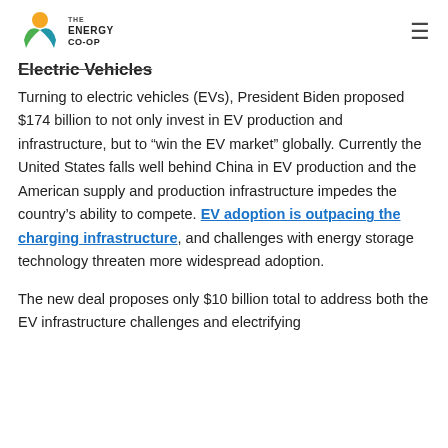The Energy Co-op
Electric Vehicles
Turning to electric vehicles (EVs), President Biden proposed $174 billion to not only invest in EV production and infrastructure, but to “win the EV market” globally. Currently the United States falls well behind China in EV production and the American supply and production infrastructure impedes the country’s ability to compete. EV adoption is outpacing the charging infrastructure, and challenges with energy storage technology threaten more widespread adoption.
The new deal proposes only $10 billion total to address both the EV infrastructure challenges and electrifying